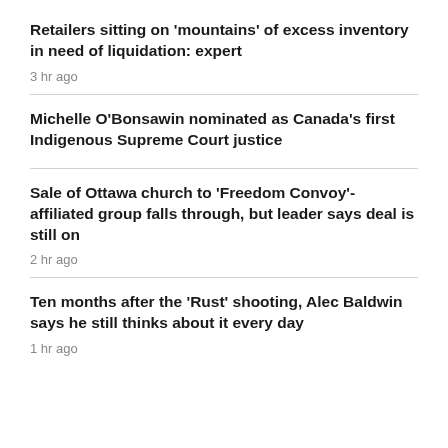Retailers sitting on 'mountains' of excess inventory in need of liquidation: expert
3 hr ago
Michelle O'Bonsawin nominated as Canada's first Indigenous Supreme Court justice
Sale of Ottawa church to 'Freedom Convoy'-affiliated group falls through, but leader says deal is still on
2 hr ago
Ten months after the 'Rust' shooting, Alec Baldwin says he still thinks about it every day
1 hr ago